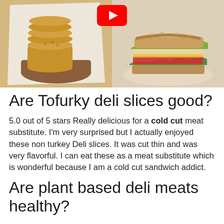[Figure (photo): Left half: stack of round crackers on a wooden board on white paper. Right half: layered sandwich with lettuce, tomato, and avocado on a plate. YouTube play button overlay at top center.]
Are Tofurky deli slices good?
5.0 out of 5 stars Really delicious for a cold cut meat substitute. I'm very surprised but I actually enjoyed these non turkey Deli slices. It was cut thin and was very flavorful. I can eat these as a meat substitute which is wonderful because I am a cold cut sandwich addict.
Are plant based deli meats healthy?